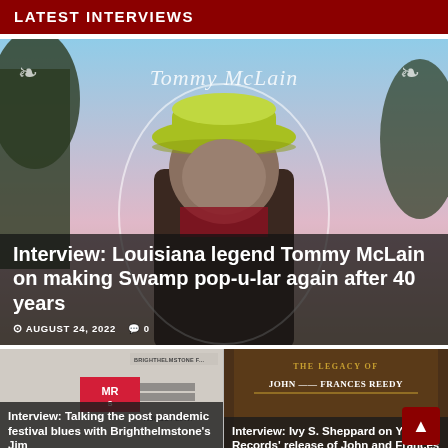LATEST INTERVIEWS
[Figure (photo): Photo of Tommy McLain wearing a lime green cowboy hat against a pink/blue background with decorative ornamental frame and script name 'Tommy McLain']
Interview: Louisiana legend Tommy McLain on making Swamp pop-u-lar again after 40 years
AUGUST 24, 2022  0
[Figure (photo): Photo related to Brighthelmstone festival, partially visible with badge text]
Interview: Talking the post pandemic festival blues with Brighthelmstone's Jim
[Figure (photo): Dark brown book cover reading 'THE LEGACY OF JOHN AND FRANCES REEDY']
Interview: Ivy S. Sheppard on Yazoo Records' release of John and Frances